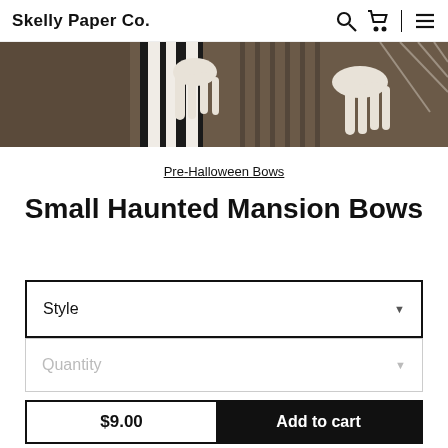Skelly Paper Co.
[Figure (photo): Product image showing skeleton/Halloween themed fabric with black and white striped and skeletal bone pattern on dark brown background]
Pre-Halloween Bows
Small Haunted Mansion Bows
Style (dropdown selector)
Quantity (dropdown selector)
$9.00  Add to cart